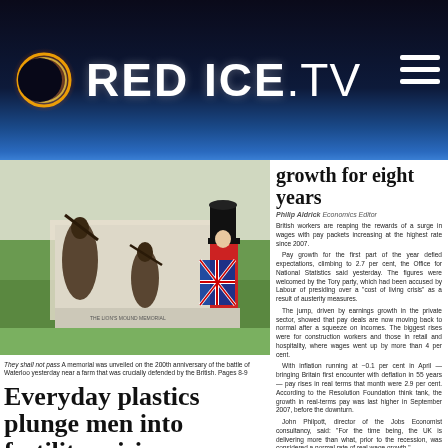[Figure (logo): Red Ice TV logo with solar eclipse icon on dark navy/blue gradient background]
[Figure (photo): Bronze statues memorial unveiled on the 200th anniversary of the Battle of Waterloo near a farm crucially defended by the British, with a Queen's Guard soldier standing nearby holding a Union Jack flag]
They shall not pass A memorial was unveiled on the 200th anniversary of the battle of Waterloo yesterday near a farm that was crucially defended by the British. Pages 8-9
Everyday plastics plunge men into fertility crisis
Chemicals in sunscreen and clothing linked to low-quality sperm
growth for eight years
Philip Aldrick Economics Editor
British workers are reaping the rewards of a surge in wages with pay packets increasing at the highest rate since 2007. Pay growth for the first part of the year defied expectations, climbing to 2.7 per cent, the Office for National Statistics said yesterday. The figures were welcomed by the Tory party, which had been accused by Labour of presiding over a "cost of living crisis" as a result of austerity measures. The jump, driven by earnings growth in the private sector, showed that pay deals are now moving back to normal after a squeeze on incomes. The biggest rises were for construction workers and those in retail and hospitality, where wages went up by more than 4 per cent. With inflation running at −0.1 per cent in April — bringing Britain first encounter with deflation in 55 years — pay rises in real terms that month were 2.9 per cent. According to the Resolution Foundation think tank, the growth in real-terms pay was last higher in September 2007, before the downturn. John Philpott, director of the Jobs Economist consultancy, said: "For the time being, the UK is delivering more than what, prior to the recession, was considered a normal rate of real wage growth." Wages rose by 2.3 per cent in the private sector but public sector pay was up by 0.9 per cent, the ONS said. The 2.7 per cent wage growth figure represents the highest rise in four years, excluding inflation. The data overshadowed an otherwise stellar labour market report, with unemployment steady at 5.5 per cent, a seven-year low, as joblessness fell by 43,000 to 1.81 million. However,